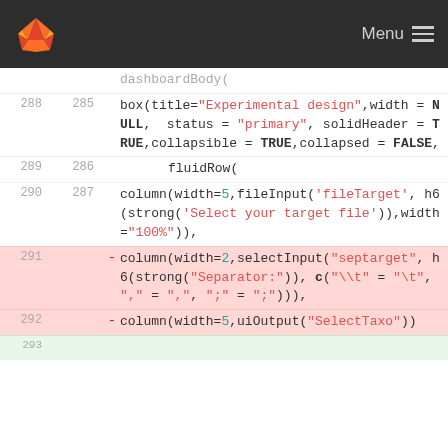GitLab navigation bar with logo and Menu
dashboardBody(
288  285    box(title="Experimental design",width = NULL, status = "primary", solidHeader = TRUE,collapsible = TRUE,collapsed = FALSE,
289  286          fluidRow(
290  287    column(width=5,fileInput('fileTarget', h6(strong('Select your target file')),width="100%")),
291  -    column(width=2,selectInput("septarget", h6(strong("Separator:")), c("\\t" = "\t", "," = ",", ";" = ";")))
292  -    column(width=5,uiOutput("SelectTaxo"))